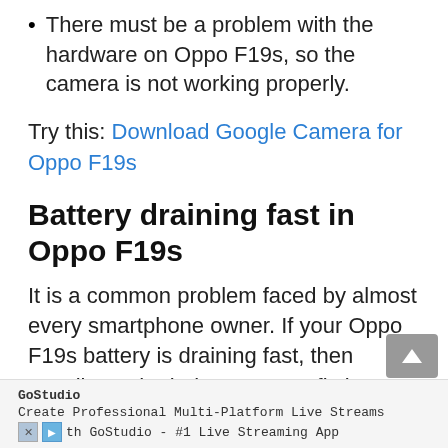There must be a problem with the hardware on Oppo F19s, so the camera is not working properly.
Try this: Download Google Camera for Oppo F19s
Battery draining fast in Oppo F19s
It is a common problem faced by almost every smartphone owner. If your Oppo F19s battery is draining fast, then usually try the below steps to fix it.
GoStudio
Create Professional Multi-Platform Live Streams
th GoStudio - #1 Live Streaming App